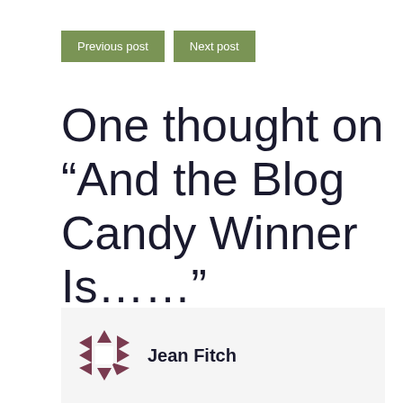Previous post   Next post
One thought on “And the Blog Candy Winner Is…”
Jean Fitch